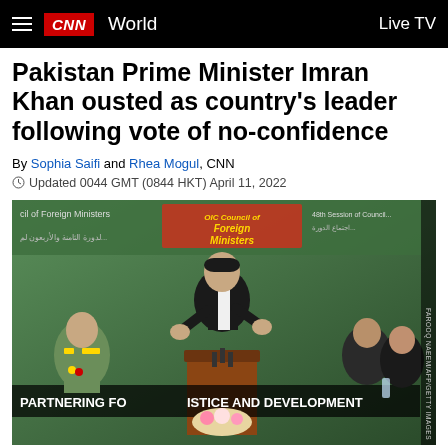CNN World | Live TV
Pakistan Prime Minister Imran Khan ousted as country's leader following vote of no-confidence
By Sophia Saifi and Rhea Mogul, CNN
Updated 0044 GMT (0844 HKT) April 11, 2022
[Figure (photo): Imran Khan speaking at a podium at the OIC Council of Foreign Ministers conference. Banner reads 'PARTNERING FOR JUSTICE AND DEVELOPMENT'. Military officer seated on left, other officials on right.]
FAROOQ NAEEM/AFP/GETTY IMAGES